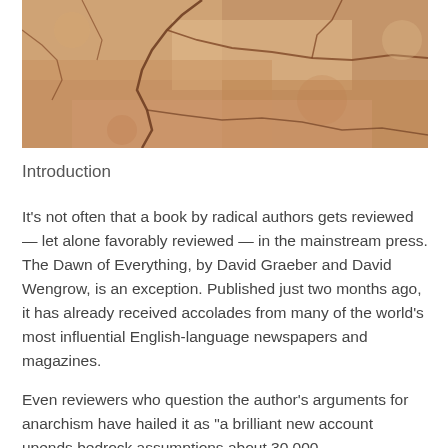[Figure (photo): Close-up photograph of cracked sandy rock or textured stone surface in warm brown and beige tones with dark crack lines.]
Introduction
It’s not often that a book by radical authors gets reviewed — let alone favorably reviewed — in the mainstream press. The Dawn of Everything, by David Graeber and David Wengrow, is an exception. Published just two months ago, it has already received accolades from many of the world’s most influential English-language newspapers and magazines.
Even reviewers who question the author’s arguments for anarchism have hailed it as “a brilliant new account upends bedrock assumptions about 30,000